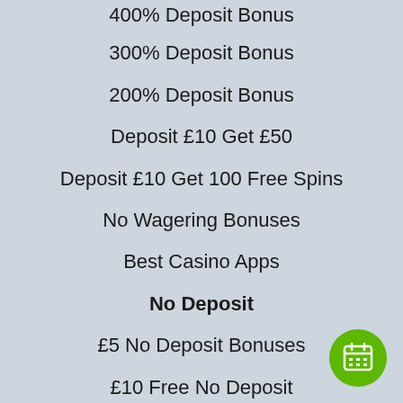400% Deposit Bonus
300% Deposit Bonus
200% Deposit Bonus
Deposit £10 Get £50
Deposit £10 Get 100 Free Spins
No Wagering Bonuses
Best Casino Apps
No Deposit
£5 No Deposit Bonuses
£10 Free No Deposit
60 Free Spins No Deposit